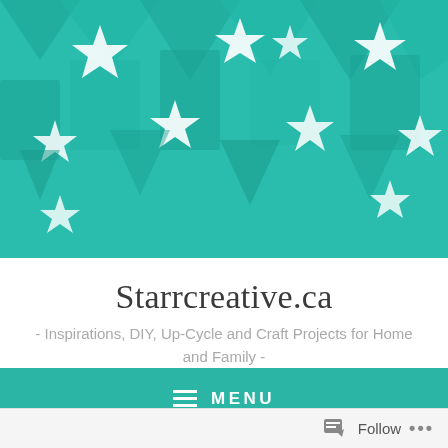[Figure (photo): Teal/turquoise paper stars and decorative shapes forming a banner header image]
Starrcreative.ca
- Inspirations, DIY, Up-Cycle and Craft Projects for Home and Family -
≡ MENU
DIY HOME, REPURPOSED PROJECTS, VIEW ALL
Follow ...